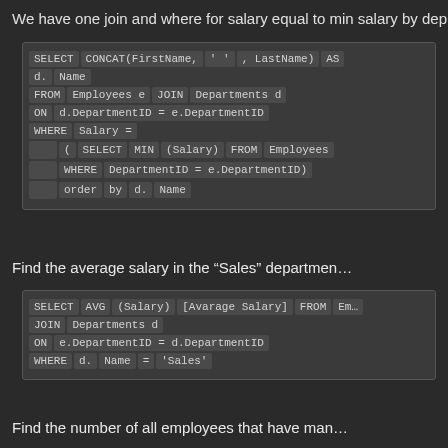We have one join and where for salary equal to min salary by dep...
[Figure (screenshot): SQL code block: SELECT CONCAT(FirstName, ' ', LastName) AS d.Name FROM Employees e JOIN Departments d ON d.DepartmentID = e.DepartmentID WHERE Salary = (SELECT MIN(Salary) FROM Employees WHERE DepartmentID = e.DepartmentID) order by d.Name]
Find the average salary in the "Sales" department...
[Figure (screenshot): SQL code block: SELECT AVG(Salary) [Avarage Salary] FROM Em... JOIN Departments d ON e.DepartmentID = d.DepartmentID WHERE d.Name = 'Sales']
Find the number of all employees that have man...